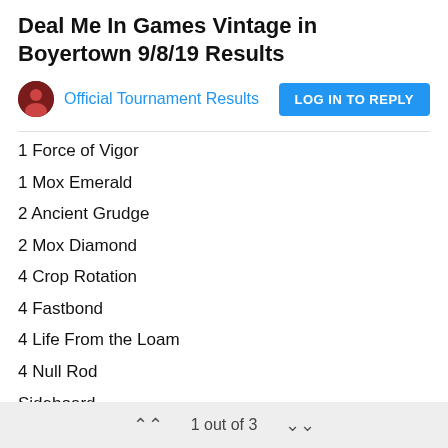Deal Me In Games Vintage in Boyertown 9/8/19 Results
Official Tournament Results
1 Force of Vigor
1 Mox Emerald
2 Ancient Grudge
2 Mox Diamond
4 Crop Rotation
4 Fastbond
4 Life From the Loam
4 Null Rod
Sideboard
1 Blast Zone
1 Choke
2 Chains of Mephistopheles
1 out of 3